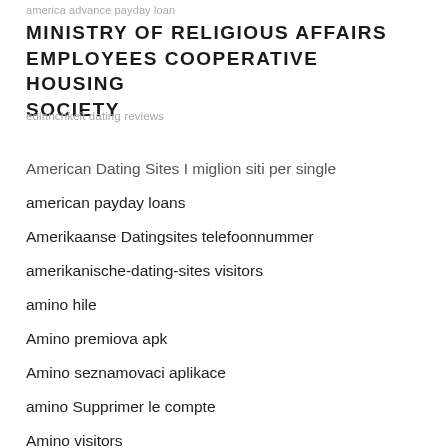america advance payday loan
MINISTRY OF RELIGIOUS AFFAIRS EMPLOYEES COOPERATIVE HOUSING SOCIETY
edinrichkeit dating reviews
American Dating Sites I miglion siti per single
american payday loans
Amerikaanse Datingsites telefoonnummer
amerikanische-dating-sites visitors
amino hile
Amino premiova apk
Amino seznamovaci aplikace
amino Supprimer le compte
Amino visitors
Amino web de citas